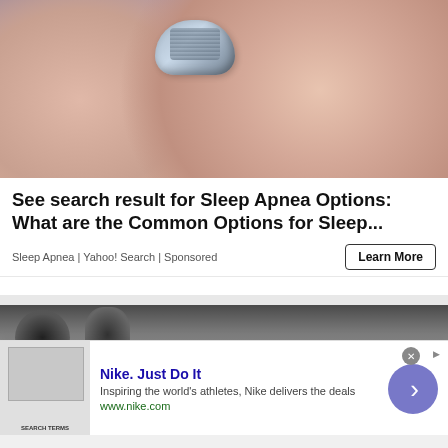[Figure (photo): Close-up photo of a person's face sleeping with a CPAP or sleep apnea device (earbud-like device) on their cheek/nose area. Skin tones visible with lavender/purple pillow in background.]
See search result for Sleep Apnea Options: What are the Common Options for Sleep...
Sleep Apnea | Yahoo! Search | Sponsored
Learn More
[Figure (photo): Partial photo showing people in a crowd, one wearing sunglasses. Bottom portion is a Nike advertisement overlay.]
Nike. Just Do It
Inspiring the world's athletes, Nike delivers the deals
www.nike.com